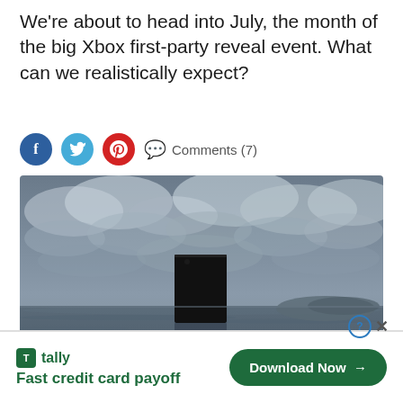We're about to head into July, the month of the big Xbox first-party reveal event. What can we realistically expect?
Comments (7)
[Figure (photo): An Xbox Series X console floating above a body of water with dramatic cloudy sky background and distant island silhouette]
[Figure (infographic): Advertisement banner for Tally app: 'Fast credit card payoff' with a Download Now button and green branding]